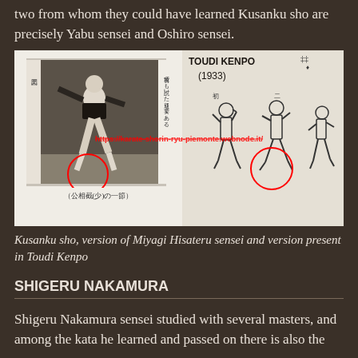two from whom they could have learned Kusanku sho are precisely Yabu sensei and Oshiro sensei.
[Figure (photo): Two-panel image: left panel shows a black-and-white photograph of a martial artist performing Kusanku sho kata, with Japanese text captions and a red circle highlighting the foot position. Right panel shows illustrated figures from Toudi Kenpo (1933) performing kata moves, also with a red circle highlight. A red watermark URL overlays both panels.]
Kusanku sho, version of Miyagi Hisateru sensei and version present in Toudi Kenpo
SHIGERU NAKAMURA
Shigeru Nakamura sensei studied with several masters, and among the kata he learned and passed on there is also the